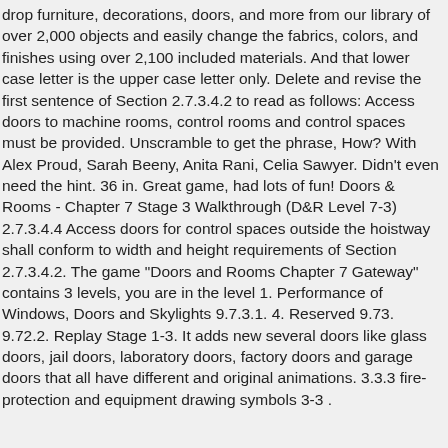drop furniture, decorations, doors, and more from our library of over 2,000 objects and easily change the fabrics, colors, and finishes using over 2,100 included materials. And that lower case letter is the upper case letter only. Delete and revise the first sentence of Section 2.7.3.4.2 to read as follows: Access doors to machine rooms, control rooms and control spaces must be provided. Unscramble to get the phrase, How? With Alex Proud, Sarah Beeny, Anita Rani, Celia Sawyer. Didn't even need the hint. 36 in. Great game, had lots of fun! Doors & Rooms - Chapter 7 Stage 3 Walkthrough (D&R Level 7-3) 2.7.3.4.4 Access doors for control spaces outside the hoistway shall conform to width and height requirements of Section 2.7.3.4.2. The game "Doors and Rooms Chapter 7 Gateway" contains 3 levels, you are in the level 1. Performance of Windows, Doors and Skylights 9.7.3.1. 4. Reserved 9.73. 9.72.2. Replay Stage 1-3. It adds new several doors like glass doors, jail doors, laboratory doors, factory doors and garage doors that all have different and original animations. 3.3.3 fire-protection and equipment drawing symbols 3-3 .